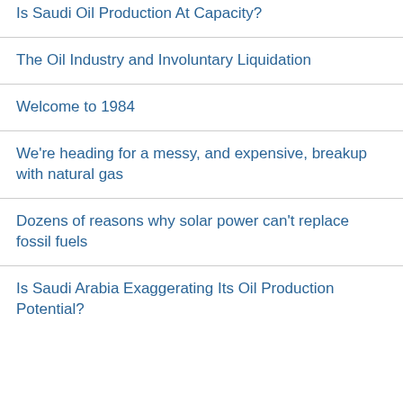Is Saudi Oil Production At Capacity?
The Oil Industry and Involuntary Liquidation
Welcome to 1984
We're heading for a messy, and expensive, breakup with natural gas
Dozens of reasons why solar power can't replace fossil fuels
Is Saudi Arabia Exaggerating Its Oil Production Potential?